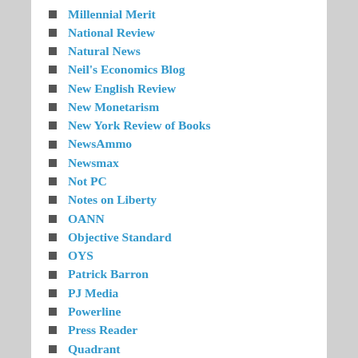Millennial Merit
National Review
Natural News
Neil's Economics Blog
New English Review
New Monetarism
New York Review of Books
NewsAmmo
Newsmax
Not PC
Notes on Liberty
OANN
Objective Standard
OYS
Patrick Barron
PJ Media
Powerline
Press Reader
Quadrant
Radio Garden
Radix Journal